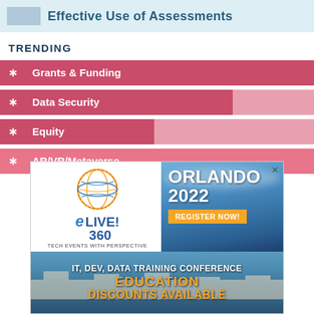Effective Use of Assessments
TRENDING
* Grants & Funding
* Data Security
* Equity
* AR/VR/Metaverse
[Figure (advertisement): Live! 360 Tech Events advertisement for Orlando 2022 conference. Shows Live 360 logo with globe, Orlando 2022 text, Register Now button, IT Dev Data Training Conference text, Education Discounts Available text.]